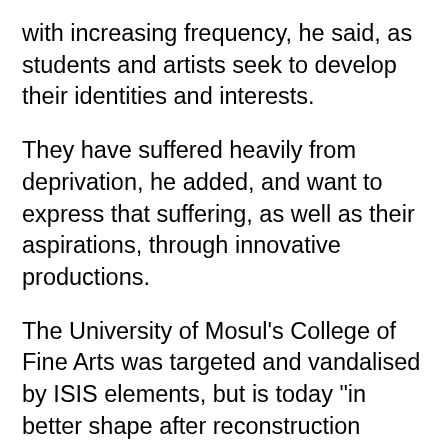with increasing frequency, he said, as students and artists seek to develop their identities and interests.
They have suffered heavily from deprivation, he added, and want to express that suffering, as well as their aspirations, through innovative productions.
The University of Mosul's College of Fine Arts was targeted and vandalised by ISIS elements, but is today "in better shape after reconstruction efforts", university president Abuy Saeed al-Dewachi told Diyaruna.
"All departments at the college have been reopened, and evening classes are also back, with plans to expand the college by opening